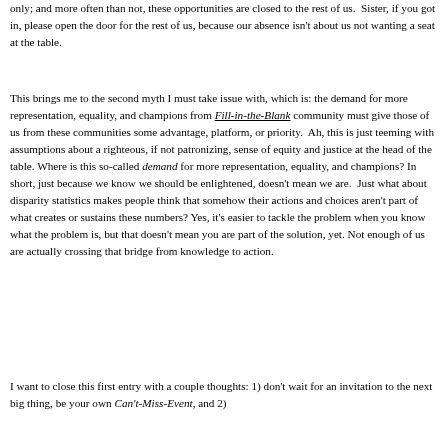only; and more often than not, these opportunities are closed to the rest of us.  Sister, if you got in, please open the door for the rest of us, because our absence isn't about us not wanting a seat at the table.
This brings me to the second myth I must take issue with, which is: the demand for more representation, equality, and champions from Fill-in-the-Blank community must give those of us from these communities some advantage, platform, or priority.  Ah, this is just teeming with assumptions about a righteous, if not patronizing, sense of equity and justice at the head of the table. Where is this so-called demand for more representation, equality, and champions? In short, just because we know we should be enlightened, doesn't mean we are.  Just what about disparity statistics makes people think that somehow their actions and choices aren't part of what creates or sustains these numbers? Yes, it's easier to tackle the problem when you know what the problem is, but that doesn't mean you are part of the solution, yet. Not enough of us are actually crossing that bridge from knowledge to action.
I want to close this first entry with a couple thoughts: 1) don't wait for an invitation to the next big thing, be your own Can't-Miss-Event, and 2)